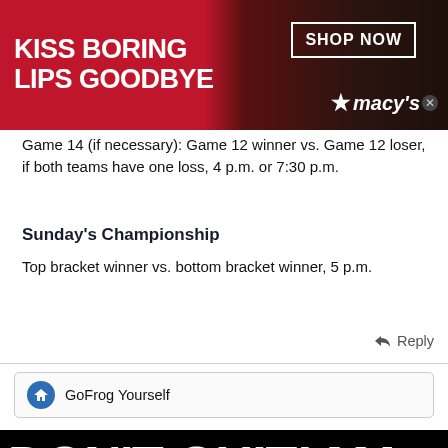[Figure (photo): Macy's advertisement banner: 'KISS BORING LIPS GOODBYE' with a woman's face and red lips, SHOP NOW button and Macy's star logo]
Game 14 (if necessary): Game 12 winner vs. Game 12 loser, if both teams have one loss, 4 p.m. or 7:30 p.m.
Sunday's Championship
Top bracket winner vs. bottom bracket winner, 5 p.m.
↩ Reply
GoFrog Yourself
[Figure (photo): DON'T QUIT! MA advertisement banner in white bold text on black background]